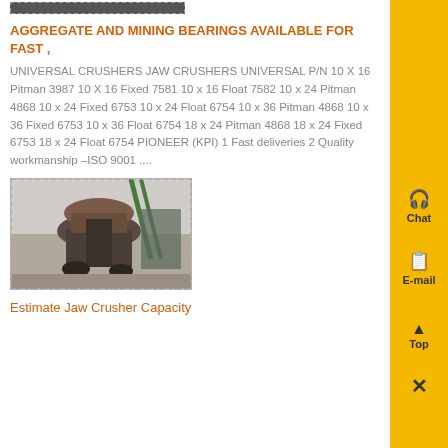[Figure (photo): Partial image visible at top of page, appears to be machinery]
AGGREGATE AND MINING BEARINGS AVAILABLE FOR FAST ,
UNIVERSAL CRUSHERS JAW CRUSHERS UNIVERSAL P/N 10 X 16 Pitman 3987 10 X 16 Fixed 7581 10 x 16 Float 7582 10 x 24 Pitman 4868 10 x 24 Fixed 6753 10 x 24 Float 6754 10 x 36 Pitman 4868 10 x 36 Fixed 6753 10 x 36 Float 6754 18 x 24 Pitman 4868 18 x 24 Fixed 6753 18 x 24 Float 6754 PIONEER (KPI) 1 Fast deliveries 2 Quality workmanship –ISO 9001 ....
[Figure (photo): Photo of a jaw crusher machine in an industrial/outdoor setting with green crane visible in background]
Estimate Jaw Crusher Capacity